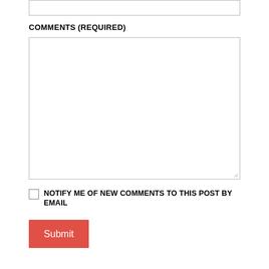[Figure (screenshot): Top portion of a web form input field (text box, partially visible)]
COMMENTS (REQUIRED)
[Figure (screenshot): Large multi-line textarea input field for comments with resize handle at bottom right]
NOTIFY ME OF NEW COMMENTS TO THIS POST BY EMAIL
[Figure (screenshot): Red Submit button]